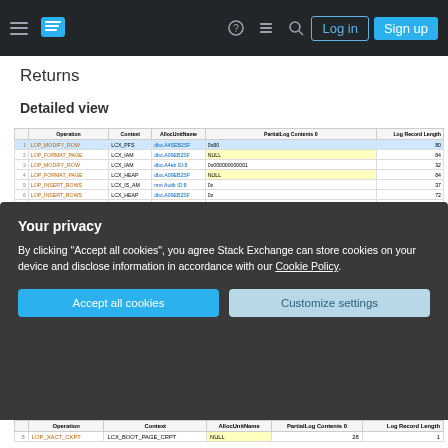Stack Exchange navigation bar with Log in and Sign up buttons
Returns
Detailed view
|  | Operation | Context | AllocUnitName | PartialLog Contents 0 | Log Record Length |
| --- | --- | --- | --- | --- | --- |
| 1 | LOP_MODIFY_ROW | LCX_PFS | dbo.A4SEB2SF | 0x80 | 80 |
| 2 | LOP_FORMAT_PAGE | LCX_IAM | dbo.A09EB2SF | NULL | 84 |
| 3 | LOP_MODIFY_ROW | LCX_IAM | dbo.A4eb ID:8 | 0x000000000001 | 32 |
| 4 | LOP_FORMAT_PAGE | LCX_HEAP | dbo.A09EB2SF | NULL | 84 |
| 5 | LOP_INSERT_ROWS | LCX_IS_AM | nnn Avdb ID:8 | 0x | 37 |
| 6 | LOP_INSERT_ROWS | LCX_HEAP | dbo.A09EB2SF | 0x | 72 |
| 7 | LOP_MODIFY_LROW | LCX_IS_AM | nnn Avdb ID:8 | 0x414141414141414141 | 88 |
| 8 | LOP_MODIFY_ROW | LCX_HEAP | dbo.A09EB2SF | 0x4 4 4 4 4 4 4 4 4 41 | 88 |
| 9 | LOP_DELETE_ROWS | LCX_IS_AM | nnn Avdb ID:8 | 0x'001'200000000424242424242424242424232000 | 32 |
| 10 | LOP_DELETE_ROWS | LCX_HEAP | dbo.A43EB2SF | 0x'001'200000000042424242424242424242042202000 | 52 |
| 11 | LOP_MODIFY_HEADER | LCX_HEAP | dbo.A4SEB2SF | 0x'201' | 76 |
| 12 | LOP_MODIFY_ROW | LCX_IAM | dbo.A43EB2SF | 0x000000000>00 | 32 |
| 13 | LOP_MODIFY_ROW | LCX_PFS | dbo.A4SEB2SF | 0x80 | 80 |
Summary View (includes logging for implicit drop
Your privacy
By clicking "Accept all cookies", you agree Stack Exchange can store cookies on your device and disclose information in accordance with our Cookie Policy.
Accept all cookies
Customize settings
|  | Operation | Context | AllocUnitName | PartialLog Contents 0 | Log Record Length |
| --- | --- | --- | --- | --- | --- |
| 8 | LOP_XACT_CKPT | LCX_BOOT_PAGE_CRPT | NULL | 28 | 1 |